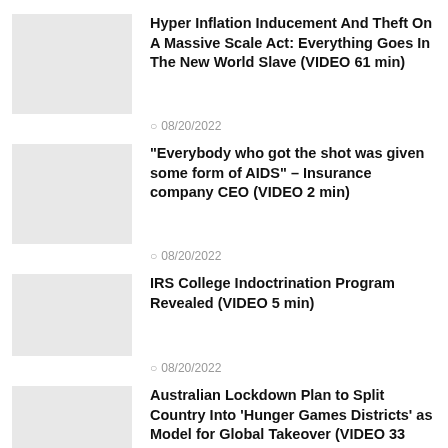[Figure (photo): Thumbnail image placeholder for article 1]
Hyper Inflation Inducement And Theft On A Massive Scale Act: Everything Goes In The New World Slave (VIDEO 61 min)
08/20/2022
[Figure (photo): Thumbnail image placeholder for article 2]
“Everybody who got the shot was given some form of AIDS” – Insurance company CEO (VIDEO 2 min)
08/20/2022
[Figure (photo): Thumbnail image placeholder for article 3]
IRS College Indoctrination Program Revealed (VIDEO 5 min)
08/20/2022
[Figure (photo): Thumbnail image placeholder for article 4]
Australian Lockdown Plan to Split Country Into ‘Hunger Games Districts’ as Model for Global Takeover (VIDEO 33 min)